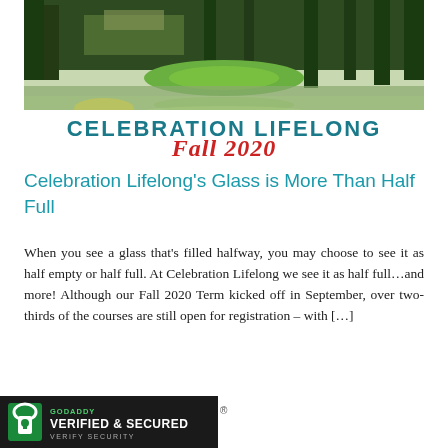[Figure (photo): Banner image showing a golf course or park with water reflection and trees, with white overlay showing 'CELEBRATION LIFELONG' in teal bold text and 'Fall 2020' in red italic script text below.]
Celebration Lifelong’s Glass is More Than Half Full
When you see a glass that’s filled halfway, you may choose to see it as half empty or half full.  At Celebration Lifelong we see it as half full…and more!  Although our Fall 2020 Term kicked off in September, over two-thirds of the courses are still open for registration – with […]
[Figure (logo): GoDaddy Verified & Secured seal badge with lock icon on dark background]